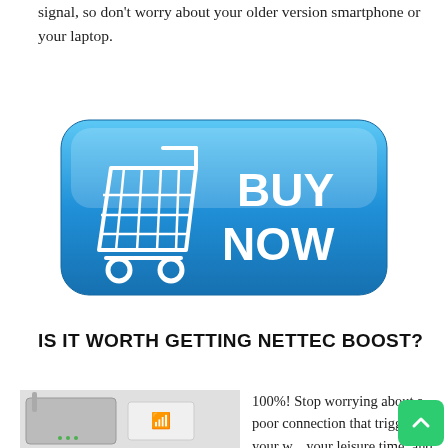signal, so don't worry about your older version smartphone or your laptop.
[Figure (illustration): A blue 'Buy Now' button with a shopping cart icon and the text 'BUY NOW' in white bold letters on a rounded blue background.]
IS IT WORTH GETTING NETTEC BOOST?
[Figure (photo): A WiFi router device next to its white box packaging on a white background.]
100%! Stop worrying about a poor connection that triggers your w... your leisure time, and